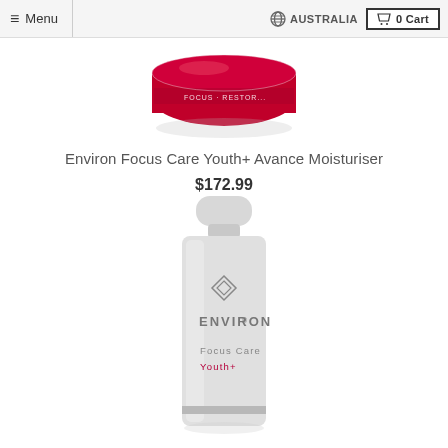Menu  AUSTRALIA  0 Cart
[Figure (photo): Partial top view of a crimson/dark pink round cosmetic jar product (Environ Focus Care Youth+), cropped at top]
Environ Focus Care Youth+ Avance Moisturiser
$172.99
[Figure (photo): White/grey pump bottle of Environ Focus Care Youth+ skincare product with diamond Environ logo and 'Focus Care Youth+' text in grey/crimson lettering]